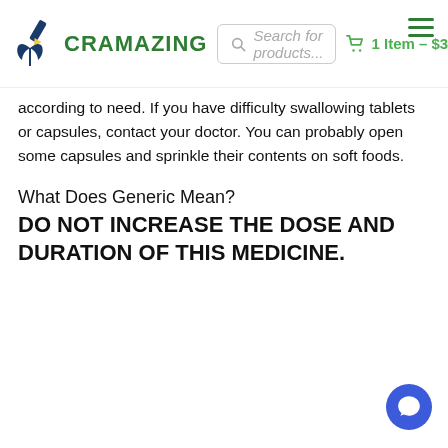CRAMAZING | Search for products... | 1 Item – $3.90
according to need. If you have difficulty swallowing tablets or capsules, contact your doctor. You can probably open some capsules and sprinkle their contents on soft foods.
What Does Generic Mean?
DO NOT INCREASE THE DOSE AND DURATION OF THIS MEDICINE.